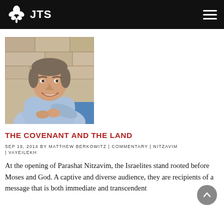JTS
[Figure (photo): Portrait photo of Matthew Berkowitz, a middle-aged man smiling with arms crossed, wearing a blue shirt, in front of a stone wall background.]
THE COVENANT AND THE LAND
SEP 19, 2014 BY MATTHEW BERKOWITZ | COMMENTARY | NITZAVIM | VAYEILEKH
At the opening of Parashat Nitzavim, the Israelites stand rooted before Moses and God. A captive and diverse audience, they are recipients of a message that is both immediate and transcendent